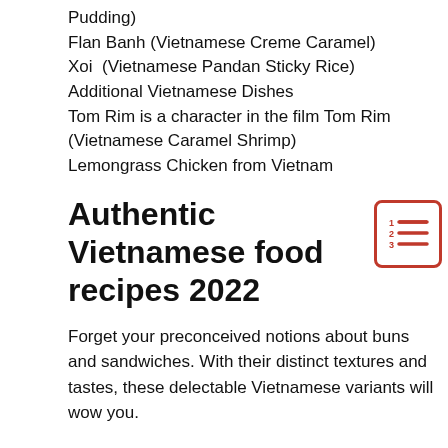Pudding)
Flan Banh (Vietnamese Creme Caramel)
Xoi  (Vietnamese Pandan Sticky Rice)
Additional Vietnamese Dishes
Tom Rim is a character in the film Tom Rim (Vietnamese Caramel Shrimp)
Lemongrass Chicken from Vietnam
Authentic Vietnamese food recipes 2022
Forget your preconceived notions about buns and sandwiches. With their distinct textures and tastes, these delectable Vietnamese variants will wow you.
1. Banh Mi is a Vietnamese